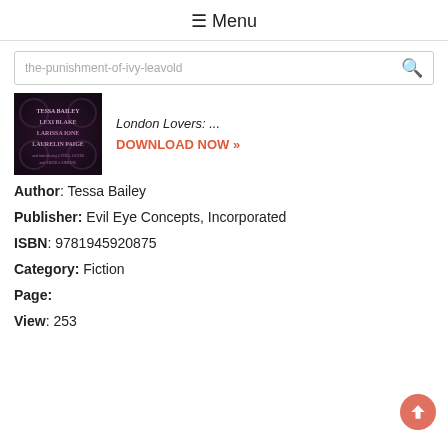☰ Menu
the-punishment-of-ivy-leavold
[Figure (photo): Book cover with dark purple/black background showing author names: TESSA BAILEY, LEXI BLAKE, LARISSA IONE, LAURELIN PAIGE]
London Lovers: ...
DOWNLOAD NOW »
Author: Tessa Bailey
Publisher: Evil Eye Concepts, Incorporated
ISBN: 9781945920875
Category: Fiction
Page:
View: 253